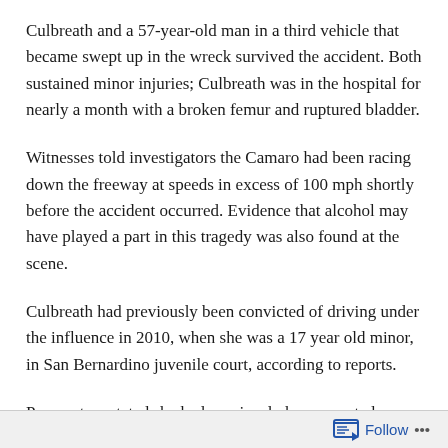Culbreath and a 57-year-old man in a third vehicle that became swept up in the wreck survived the accident. Both sustained minor injuries; Culbreath was in the hospital for nearly a month with a broken femur and ruptured bladder.
Witnesses told investigators the Camaro had been racing down the freeway at speeds in excess of 100 mph shortly before the accident occurred. Evidence that alcohol may have played a part in this tragedy was also found at the scene.
Culbreath had previously been convicted of driving under the influence in 2010, when she was a 17 year old minor, in San Bernardino juvenile court, according to reports.
Prosecutors stated she had previously been arrested on suspicion of driving under the influence when she was involved in another accident. At that time she was warned by the court about the dangers of drunk driving. She...
Follow